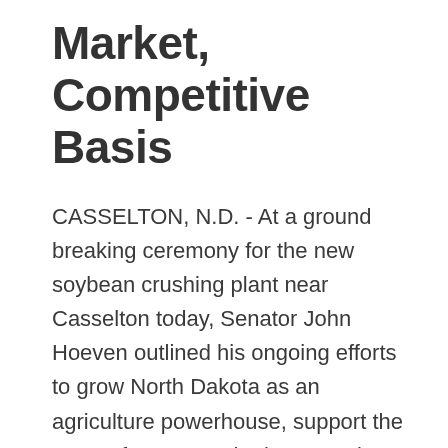Market, Competitive Basis
CASSELTON, N.D. - At a ground breaking ceremony for the new soybean crushing plant near Casselton today, Senator John Hoeven outlined his ongoing efforts to grow North Dakota as an agriculture powerhouse, support the state's farmers and advance value-added agriculture projects as a way to strengthen the state's economy and rural communities. Consolidated Grain and Barge (CGB) Enterprises Inc. and Minnesota Soybean